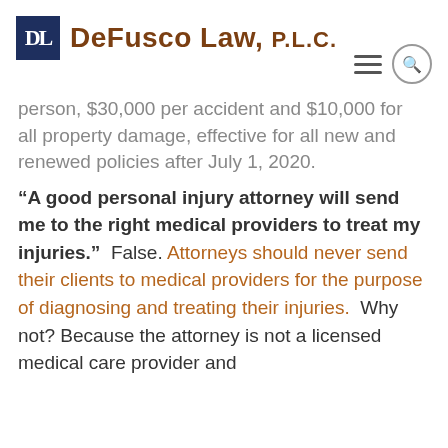DeFusco Law, P.L.C.
person, $30,000 per accident and $10,000 for all property damage, effective for all new and renewed policies after July 1, 2020.
“A good personal injury attorney will send me to the right medical providers to treat my injuries.”  False. Attorneys should never send their clients to medical providers for the purpose of diagnosing and treating their injuries.  Why not? Because the attorney is not a licensed medical care provider and